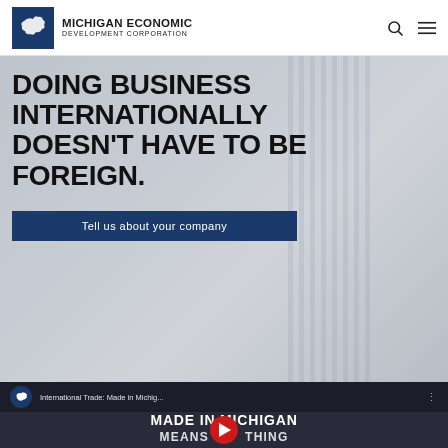Michigan Economic Development Corporation
DOING BUSINESS INTERNATIONALLY DOESN'T HAVE TO BE FOREIGN.
Tell us about your company
[Figure (screenshot): YouTube video embed: International Trade: Made in Michig... with MADE IN MICHIGAN text overlay and YouTube play button]